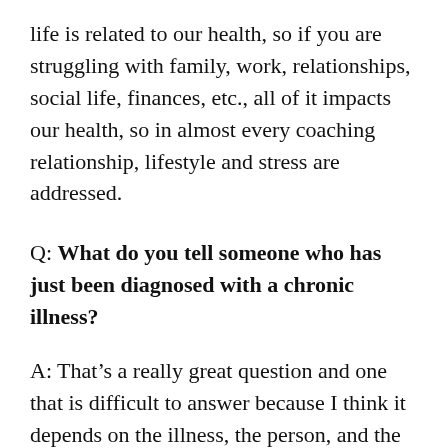life is related to our health, so if you are struggling with family, work, relationships, social life, finances, etc., all of it impacts our health, so in almost every coaching relationship, lifestyle and stress are addressed.
Q: What do you tell someone who has just been diagnosed with a chronic illness?
A: That’s a really great question and one that is difficult to answer because I think it depends on the illness, the person, and the severity of the condition. For most everyone, it can be a very